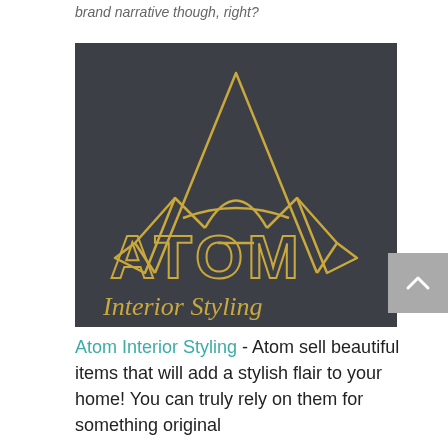brand narrative though, right?
[Figure (logo): Atom Interior Styling logo on a dark charcoal background. Features a stylized crown/letter A shape in gold outline at the top, with the word ATOM in large gold outlined letters, and 'Interior Styling' in gold cursive script below.]
Atom Interior Styling - Atom sell beautiful items that will add a stylish flair to your home! You can truly rely on them for something original